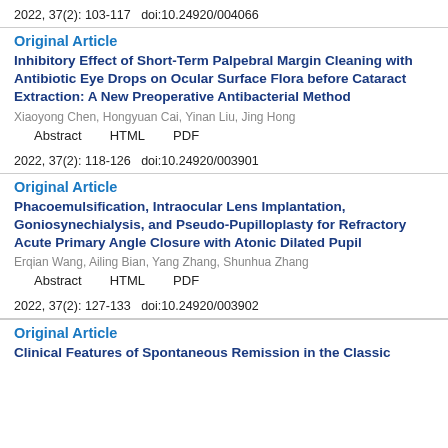2022, 37(2): 103-117   doi:10.24920/004066
Original Article
Inhibitory Effect of Short-Term Palpebral Margin Cleaning with Antibiotic Eye Drops on Ocular Surface Flora before Cataract Extraction: A New Preoperative Antibacterial Method
Xiaoyong Chen, Hongyuan Cai, Yinan Liu, Jing Hong
Abstract   HTML   PDF
2022, 37(2): 118-126   doi:10.24920/003901
Original Article
Phacoemulsification, Intraocular Lens Implantation, Goniosynechialysis, and Pseudo-Pupilloplasty for Refractory Acute Primary Angle Closure with Atonic Dilated Pupil
Erqian Wang, Ailing Bian, Yang Zhang, Shunhua Zhang
Abstract   HTML   PDF
2022, 37(2): 127-133   doi:10.24920/003902
Original Article
Clinical Features of Spontaneous Remission in the Classic